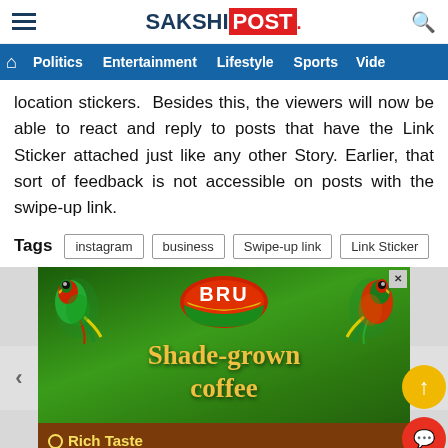SAKSHI POST
Politics | Entertainment | Lifestyle | Sports | Vide
location stickers.  Besides this, the viewers will now be able to react and reply to posts that have the Link Sticker attached just like any other Story. Earlier, that sort of feedback is not accessible on posts with the swipe-up link.
Tags: instagram | business | Swipe-up link | Link Sticker
[Figure (photo): BRU Shade-grown coffee advertisement with green forest background, two parrots, BRU logo oval, and brown bottom bar with text Rich Taste and Irresistible Aroma]